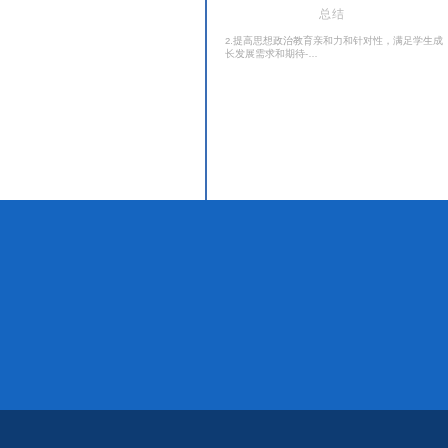总结
2.提高思想政治教育亲和力和针对性，满足学生成长发展需求和期待-…
----------友情链接----------
· 教育部网站
· 四川省教育厅
· 高校思政网
· 人民网
· 马克思主义
· 中国高校人文
· 光明理论网
· 求是网
Copyright 1942-2018 成都理工大学 All Rights Reserved 网站建设与维护028-87057840   Email: sdutsc@sdtu.edu.cn 网站技术支持中心   邮编610041